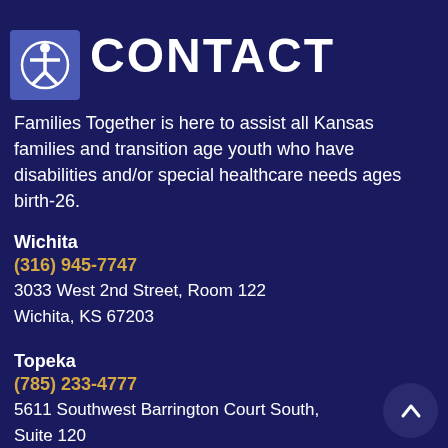CONTACT
Families Together is here to assist all Kansas families and transition age youth who have disabilities and/or special healthcare needs ages birth-26.
Wichita
(316) 945-7747
3033 West 2nd Street, Room 122
Wichita, KS 67203
Topeka
(785) 233-4777
5611 Southwest Barrington Court South, Suite 120
Topeka, KS 66614-2489